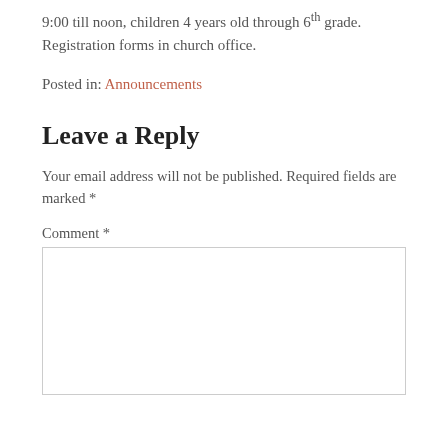9:00 till noon, children 4 years old through 6th grade. Registration forms in church office.
Posted in: Announcements
Leave a Reply
Your email address will not be published. Required fields are marked *
Comment *